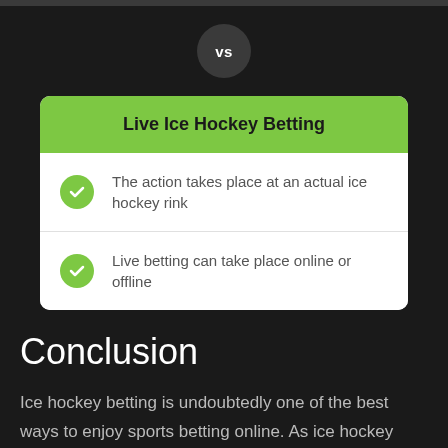[Figure (infographic): Dark circle badge with 'VS' text in white, centered at the top of the page]
Live Ice Hockey Betting
The action takes place at an actual ice hockey rink
Live betting can take place online or offline
Conclusion
Ice hockey betting is undoubtedly one of the best ways to enjoy sports betting online. As ice hockey continues to gain popularity, many bookmakers start to feature it in their sportsbooks and offer it as a betting option. You can